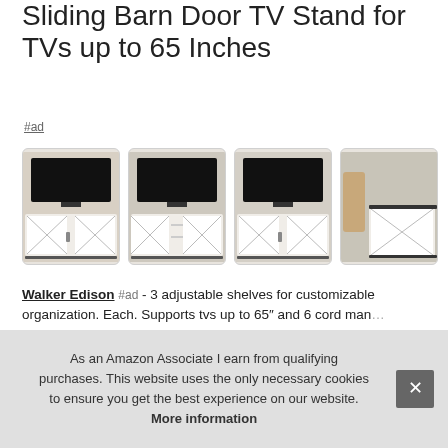Sliding Barn Door TV Stand for TVs up to 65 Inches
#ad
[Figure (photo): Four product photos of a white sliding barn door TV stand shown from different angles and configurations]
Walker Edison #ad - 3 adjustable shelves for customizable organization. Each. Supports tvs up to 65″ and 6 cord man... to 1...
As an Amazon Associate I earn from qualifying purchases. This website uses the only necessary cookies to ensure you get the best experience on our website. More information